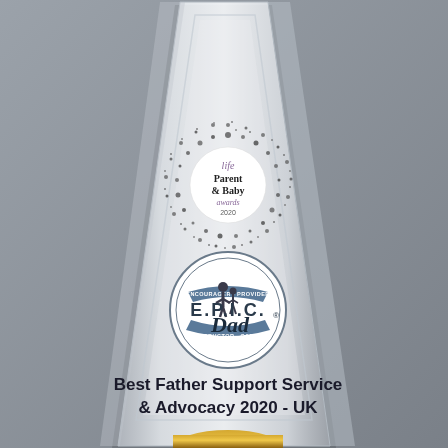[Figure (photo): Photograph of a clear glass/acrylic award trophy with a trapezoidal shape. Near the top center is a circular 'Parent & Baby awards 2020' logo with a speckled dark halo effect. Below that is the E.P.I.C. Dad circular logo (Encourager, Provider, Instructor, Career, Carer) with a figure of a parent and child silhouette. At the bottom of the trophy text reads 'Best Father Support Service & Advocacy 2020 - UK'. The trophy sits on a gold base visible at the very bottom. Background is a neutral grey-blue.]